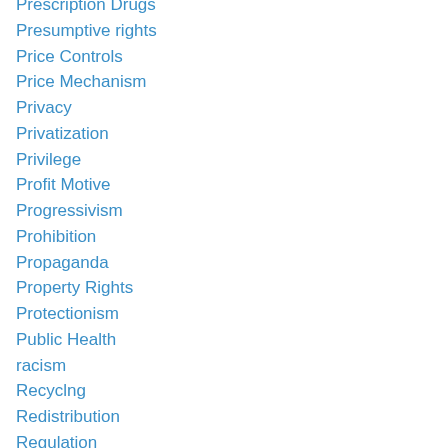Prescription Drugs
Presumptive rights
Price Controls
Price Mechanism
Privacy
Privatization
Privilege
Profit Motive
Progressivism
Prohibition
Propaganda
Property Rights
Protectionism
Public Health
racism
Recyclng
Redistribution
Regulation
Renewable Energy
rent seeking